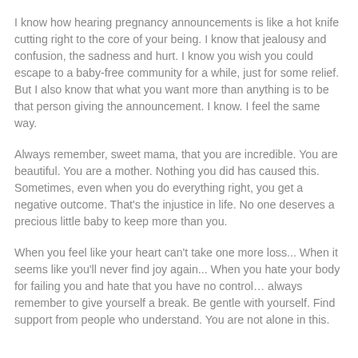I know how hearing pregnancy announcements is like a hot knife cutting right to the core of your being. I know that jealousy and confusion, the sadness and hurt. I know you wish you could escape to a baby-free community for a while, just for some relief. But I also know that what you want more than anything is to be that person giving the announcement. I know. I feel the same way.
Always remember, sweet mama, that you are incredible. You are beautiful. You are a mother. Nothing you did has caused this. Sometimes, even when you do everything right, you get a negative outcome. That's the injustice in life. No one deserves a precious little baby to keep more than you.
When you feel like your heart can't take one more loss... When it seems like you'll never find joy again... When you hate your body for failing you and hate that you have no control… always remember to give yourself a break. Be gentle with yourself. Find support from people who understand. You are not alone in this.